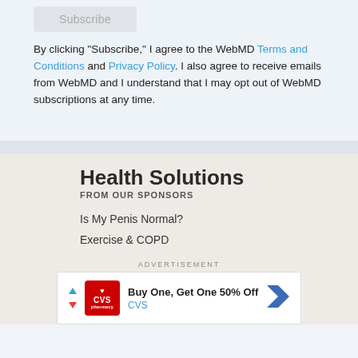[Figure (other): Subscribe button (grayed out)]
By clicking "Subscribe," I agree to the WebMD Terms and Conditions and Privacy Policy. I also agree to receive emails from WebMD and I understand that I may opt out of WebMD subscriptions at any time.
Health Solutions
FROM OUR SPONSORS
Is My Penis Normal?
Exercise & COPD
ADVERTISEMENT
[Figure (other): CVS advertisement: Buy One, Get One 50% Off - CVS pharmacy ad with logo and navigation arrow]